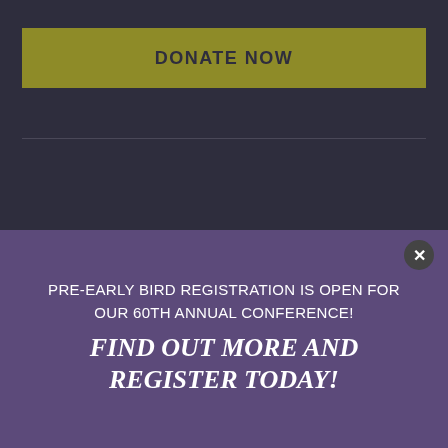DONATE NOW
First Name
Last Name
PRE-EARLY BIRD REGISTRATION IS OPEN FOR OUR 60TH ANNUAL CONFERENCE!
FIND OUT MORE AND REGISTER TODAY!